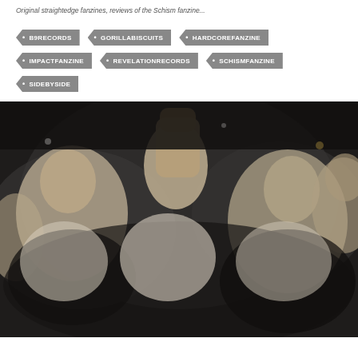Original Straightedge fanzines, reviews of the Schism fanzine
B9RECORDS
GORILLABISCUITS
HARDCOREFANZINE
IMPACTFANZINE
REVELATIONRECORDS
SCHISMFANZINE
SIDEBYSIDE
[Figure (photo): Black and white grainy photo of hardcore punk concert crowd, multiple people with fists raised, energetic mosh pit scene]